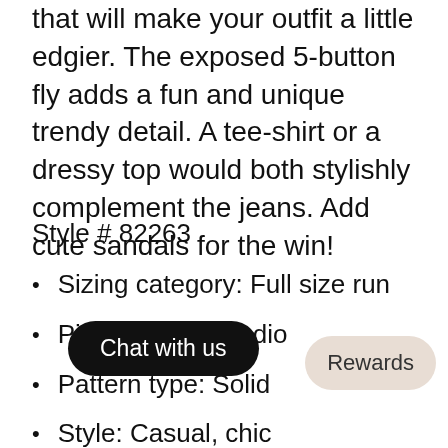that will make your outfit a little edgier. The exposed 5-button fly adds a fun and unique trendy detail. A tee-shirt or a dressy top would both stylishly complement the jeans. Add cute sandals for the win!
Style # 82263
Sizing category: Full size run
Picture style: Studio
Pattern type: Solid
Style: Casual, chic
Features: Distressed
Material: 69% cotton, 16% polyester, rayon, 5% elastroll, poly 1% spandex